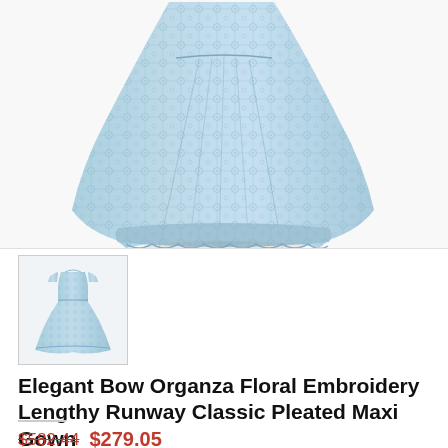[Figure (photo): Main product photo of a light blue lace/organza floral embroidery pleated maxi dress shown from mid-section downward on white background]
[Figure (photo): Thumbnail image of the full light blue organza floral embroidery maxi gown showing the complete dress with short sleeves]
Elegant Bow Organza Floral Embroidery Lengthy Runway Classic Pleated Maxi Gown
$582.44  $279.05